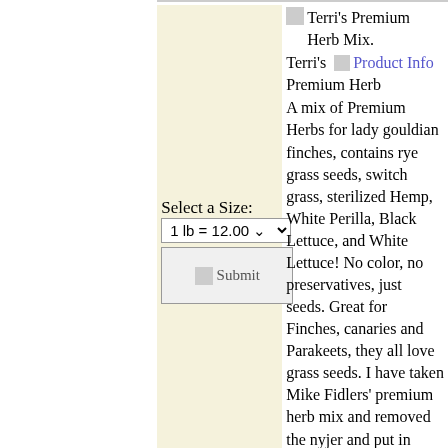[Figure (screenshot): Product image placeholder for Terri's Premium Herb Mix]
Terri's Premium Herb
A mix of Premium Herbs for lady gouldian finches, contains rye grass seeds, switch grass, sterilized Hemp, White Perilla, Black Lettuce, and White Lettuce! No color, no preservatives, just seeds. Great for Finches, canaries and Parakeets, they all love grass seeds. I have taken Mike Fidlers' premium herb mix and removed the nyjer and put in white perilla. Nyjer is sterilized while white perilla is not:)
Select a Size:
1 lb = 12.00
[Figure (screenshot): Submit button image]